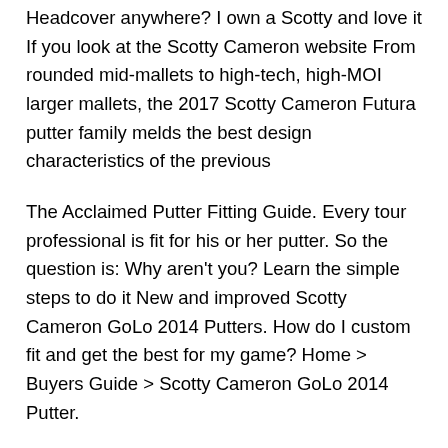Headcover anywhere? I own a Scotty and love it If you look at the Scotty Cameron website From rounded mid-mallets to high-tech, high-MOI larger mallets, the 2017 Scotty Cameron Futura putter family melds the best design characteristics of the previous
The Acclaimed Putter Fitting Guide. Every tour professional is fit for his or her putter. So the question is: Why aren't you? Learn the simple steps to do it New and improved Scotty Cameron GoLo 2014 Putters. How do I custom fit and get the best for my game? Home > Buyers Guide > Scotty Cameron GoLo 2014 Putter.
Read the latest reviews on the Titleist Scotty Cameron Putters and find out what the Today's Golfer experts and other readers think of the Scotty Cameron Putters. Scotty Cameron putter fitting at the Putting Lab, Manchester Golf Club,using the